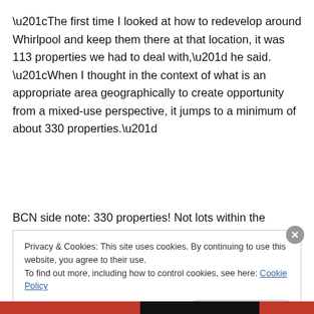“The first time I looked at how to redevelop around Whirlpool and keep them there at that location, it was 113 properties we had to deal with,” he said. “When I thought in the context of what is an appropriate area geographically to create opportunity from a mixed-use perspective, it jumps to a minimum of about 330 properties.”
BCN side note: 330 properties! Not lots within the
Privacy & Cookies: This site uses cookies. By continuing to use this website, you agree to their use.
To find out more, including how to control cookies, see here: Cookie Policy
Close and accept